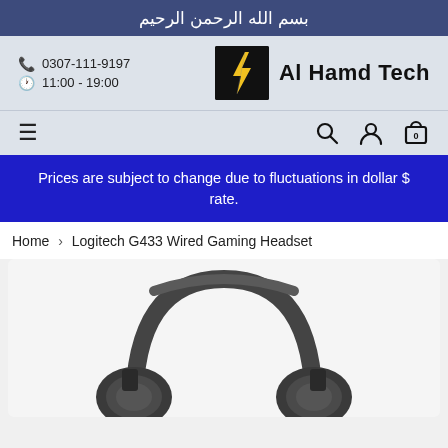بسم الله الرحمن الرحيم
0307-111-9197
11:00 - 19:00
[Figure (logo): Al Hamd Tech logo - black square with stylized lightning bolt, text 'Al Hamd Tech' beside it]
Hamburger menu, search, user, and cart icons
Prices are subject to change due to fluctuations in dollar $ rate.
Home > Logitech G433 Wired Gaming Headset
[Figure (photo): Logitech G433 Wired Gaming Headset - dark grey/black over-ear gaming headset shown from front angle]